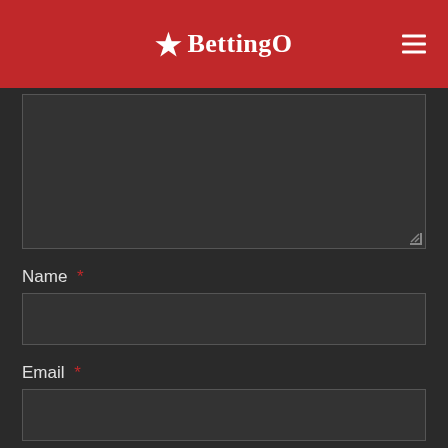★BettingO
[Figure (screenshot): Dark-themed web form with textarea, Name field, Email field, and a save checkbox. Red header with BettingO logo and hamburger menu.]
Name *
Email *
Save my name, email, and website in this browser for the next time I comment.